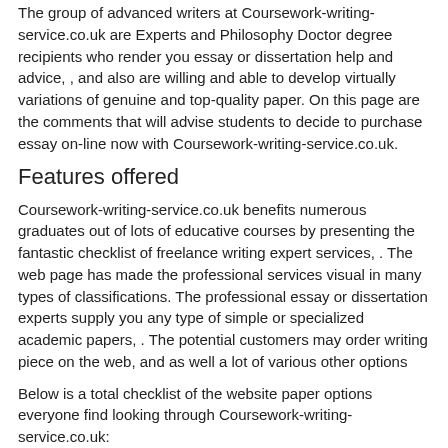The group of advanced writers at Coursework-writing-service.co.uk are Experts and Philosophy Doctor degree recipients who render you essay or dissertation help and advice, , and also are willing and able to develop virtually variations of genuine and top-quality paper. On this page are the comments that will advise students to decide to purchase essay on-line now with Coursework-writing-service.co.uk.
Features offered
Coursework-writing-service.co.uk benefits numerous graduates out of lots of educative courses by presenting the fantastic checklist of freelance writing expert services, . The web page has made the professional services visual in many types of classifications. The professional essay or dissertation experts supply you any type of simple or specialized academic papers, . The potential customers may order writing piece on the web, and as well a lot of various other options
Below is a total checklist of the website paper options everyone find looking through Coursework-writing-service.co.uk:
Academic writing – it gives you customized assignment composing, as well as narration, argumentative articles, cause and effect, comparison and compare, etc. The writers can certainly do any term papers, annotations, critical reviews